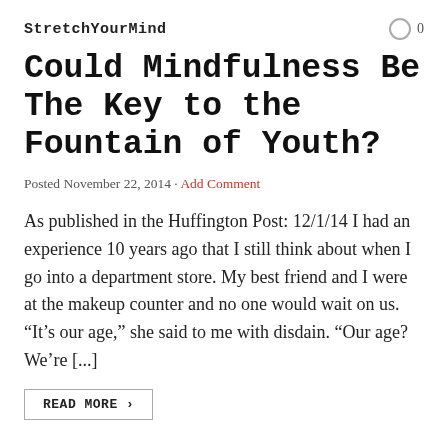StretchYourMind   0
Could Mindfulness Be The Key to the Fountain of Youth?
Posted November 22, 2014 · Add Comment
As published in the Huffington Post: 12/1/14 I had an experience 10 years ago that I still think about when I go into a department store. My best friend and I were at the makeup counter and no one would wait on us. “It’s our age,” she said to me with disdain. “Our age? We’re [...]
READ MORE ›